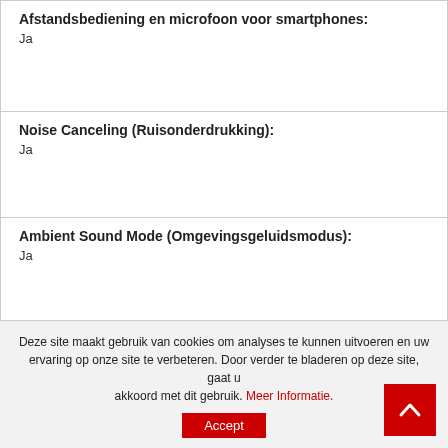| Afstandsbediening en microfoon voor smartphones: | Ja |
| Noise Canceling (Ruisonderdrukking): | Ja |
| Ambient Sound Mode (Omgevingsgeluidsmodus): | Ja |
| WOOD Dome Driver: | Ja |
| Automatisch Aan/Uit: | Ja |
| IP Bestendigheid: | IPX4 |
| Waterbestendig: | Ja |
Deze site maakt gebruik van cookies om analyses te kunnen uitvoeren en uw ervaring op onze site te verbeteren. Door verder te bladeren op deze site, gaat u akkoord met dit gebruik. Meer Informatie.
Accept